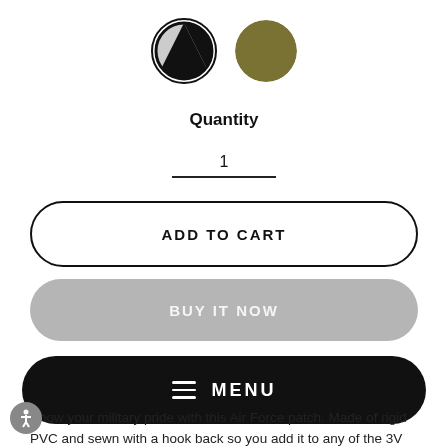[Figure (illustration): Two circular color swatches: left swatch shows black and gray diagonal halves with a dark border; right swatch shows olive/khaki green solid color]
Quantity
1
ADD TO CART
BUY IT NOW
≡ MENU
Show your military pride with this Air Force patch. Made of rigid PVC and sewn with a hook back so you add it to any of the 3V Gear velcro MOLLE panels. 3V Gear